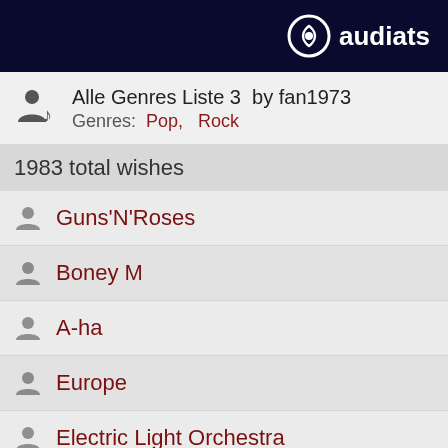audiarts
Alle Genres Liste 3 by fan1973
Genres: Pop, Rock
1983 total wishes
Guns'N'Roses
Boney M
A-ha
Europe
Electric Light Orchestra